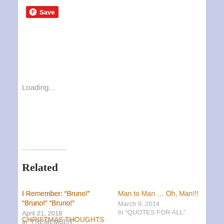[Figure (logo): Pinterest Save button with red background and white P icon]
Loading...
Related
I Remember: “Bruno!” “Bruno!” “Bruno!”
April 21, 2018
In “I REMEMBER”
Man to Man … Oh, Man!!!
March 9, 2014
In “QUOTES FOR ALL”
CHRISTMAS THOUGHTS OF THANKSGIVING
December 14, 2013
In “HOLIDAYS”